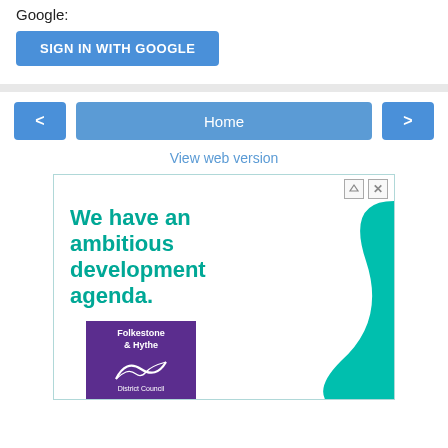Google:
[Figure (screenshot): Blue 'SIGN IN WITH GOOGLE' button]
[Figure (screenshot): Navigation bar with left arrow, Home button, and right arrow, plus 'View web version' link]
[Figure (advertisement): Ad banner: 'We have an ambitious development agenda.' with Folkestone & Hythe District Council logo and teal curved graphic]